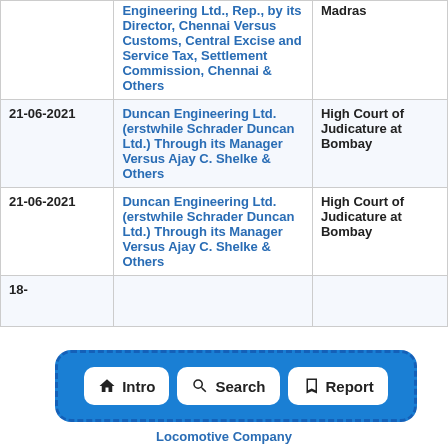| Date | Case | Court |
| --- | --- | --- |
|  | Engineering Ltd., Rep., by its Director, Chennai Versus Customs, Central Excise and Service Tax, Settlement Commission, Chennai & Others | Madras |
| 21-06-2021 | Duncan Engineering Ltd. (erstwhile Schrader Duncan Ltd.) Through its Manager Versus Ajay C. Shelke & Others | High Court of Judicature at Bombay |
| 21-06-2021 | Duncan Engineering Ltd. (erstwhile Schrader Duncan Ltd.) Through its Manager Versus Ajay C. Shelke & Others | High Court of Judicature at Bombay |
| 18-... | ... | ... |
[Figure (infographic): Navigation bar with three buttons: Intro (home icon), Search (search icon), Report (document icon), overlaid on a blue dashed-border rounded rectangle]
Locomotive Company